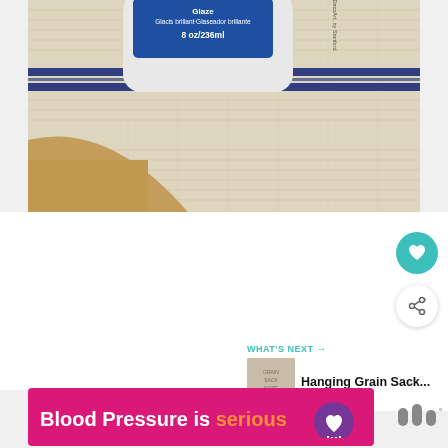[Figure (photo): Close-up photo of a DecoArt Brilliant Glaze product bottle (label reads 'Glacis brillant / Glaseador brillante 8 oz / 236ml, DecoArt, by Stanford') placed on a cream-colored grain sack fabric with blue stripes, resting on a cardboard surface]
[Figure (screenshot): White content area with a teal circular heart/favorite button and a white circular share button on the right side]
WHAT'S NEXT → Hanging Grain Sack...
[Figure (photo): Small thumbnail image of a hanging grain sack]
[Figure (infographic): Ad banner: pink/magenta background with text 'Blood Pressure is serious' and a purple heart icon with lines, next to a small logo]